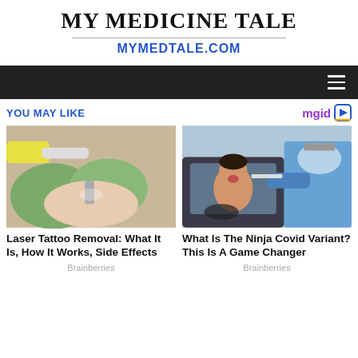MY MEDICINE TALE
MYMEDTALE.COM
[Figure (screenshot): Dark navigation bar with hamburger menu icon on the right]
YOU MAY LIKE
[Figure (photo): Laser tattoo removal procedure on an ankle, gloved hands holding laser device]
Laser Tattoo Removal: What It Is, How It Works, Side Effects
Brainberries
[Figure (photo): Healthcare worker in PPE administering a nasal swab COVID test to a person in a car at a drive-through testing site]
What Is The Ninja Covid Variant? This Is A Game Changer
Brainberries